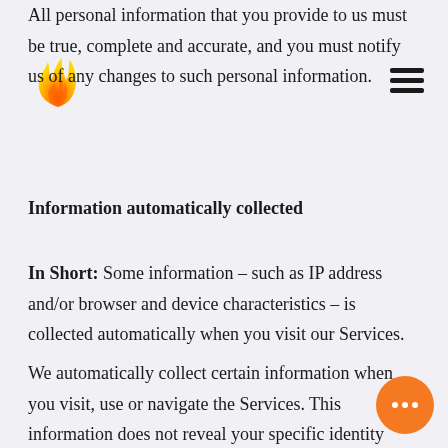All personal information that you provide to us must be true, complete and accurate, and you must notify us of any changes to such personal information.
[Figure (logo): Orange flame logo in the upper left area]
[Figure (other): Hamburger menu icon (three horizontal bars) in the upper right]
Information automatically collected
In Short: Some information – such as IP address and/or browser and device characteristics – is collected automatically when you visit our Services.
We automatically collect certain information when you visit, use or navigate the Services. This information does not reveal your specific identity (like your name or contact information) but may include device and usage information, such as your IP address, browser and device characteristics, operating system, language preferences, referring URLs, device name, country,
[Figure (other): Orange circular chat button with three dots in the bottom right corner]